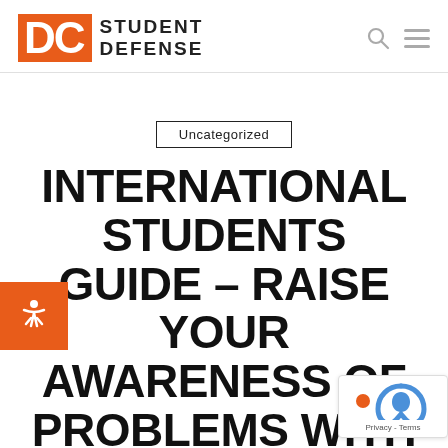[Figure (logo): DC Student Defense logo with orange DC block and text STUDENT DEFENSE]
Uncategorized
INTERNATIONAL STUDENTS GUIDE – RAISE YOUR AWARENESS OF PROBLEMS WITH ALCOHOL